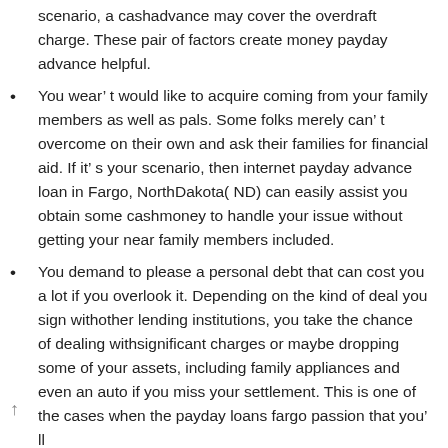scenario, a cashadvance may cover the overdraft charge. These pair of factors create money payday advance helpful.
You wear’ t would like to acquire coming from your family members as well as pals. Some folks merely can’ t overcome on their own and ask their families for financial aid. If it’ s your scenario, then internet payday advance loan in Fargo, NorthDakota( ND) can easily assist you obtain some cashmoney to handle your issue without getting your near family members included.
You demand to please a personal debt that can cost you a lot if you overlook it. Depending on the kind of deal you sign withother lending institutions, you take the chance of dealing withsignificant charges or maybe dropping some of your assets, including family appliances and even an auto if you miss your settlement. This is one of the cases when the payday loans fargo passion that you’ ll